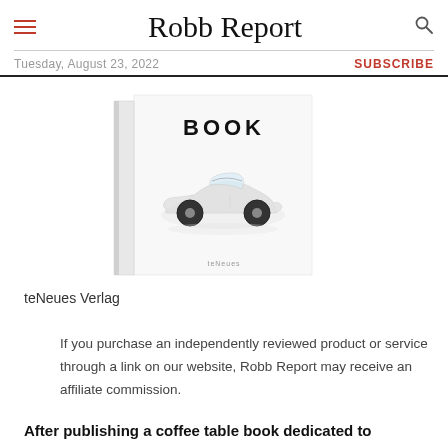Robb Report
Tuesday, August 23, 2022
SUBSCRIBE
[Figure (photo): A white book cover featuring the word BOOK in bold black text at the top, with a white classic convertible sports car (resembling a vintage Jaguar XK120) photographed on a white background. The teNeues publisher logo appears at the bottom of the cover. The book is shown with a slight 3D spine effect.]
teNeues Verlag
If you purchase an independently reviewed product or service through a link on our website, Robb Report may receive an affiliate commission.
After publishing a coffee table book dedicated to